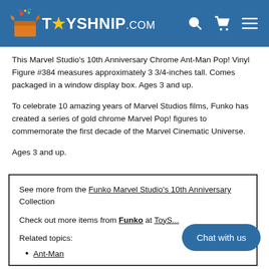TOYSHNIP.COM
This Marvel Studio's 10th Anniversary Chrome Ant-Man Pop! Vinyl Figure #384 measures approximately 3 3/4-inches tall. Comes packaged in a window display box. Ages 3 and up.
To celebrate 10 amazing years of Marvel Studios films, Funko has created a series of gold chrome Marvel Pop! figures to commemorate the first decade of the Marvel Cinematic Universe.
Ages 3 and up.
See more from the Funko Marvel Studio's 10th Anniversary Collection
Check out more items from Funko at ToyS...
Related topics:
Ant-Man